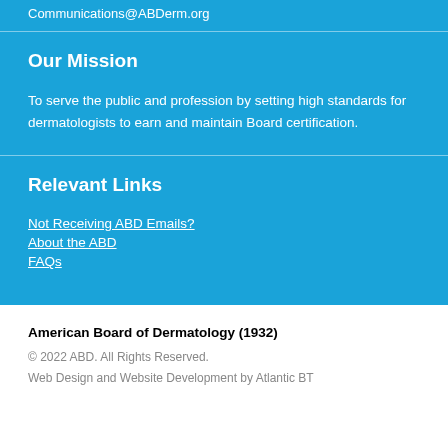Communications@ABDerm.org
Our Mission
To serve the public and profession by setting high standards for dermatologists to earn and maintain Board certification.
Relevant Links
Not Receiving ABD Emails?
About the ABD
FAQs
American Board of Dermatology (1932)
© 2022 ABD. All Rights Reserved.
Web Design and Website Development by Atlantic BT